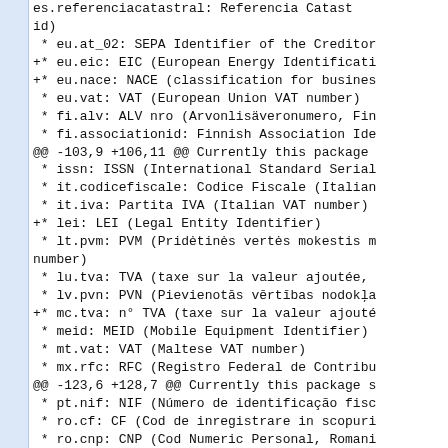Diff/code content showing list of identifier types in a software package changelog format